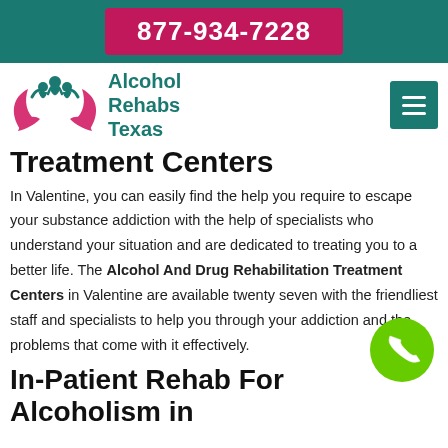877-934-7228
[Figure (logo): Alcohol Rehabs Texas logo with pink hands and teal person figures, beside text 'Alcohol Rehabs Texas']
Treatment Centers
In Valentine, you can easily find the help you require to escape your substance addiction with the help of specialists who understand your situation and are dedicated to treating you to a better life. The Alcohol And Drug Rehabilitation Treatment Centers in Valentine are available twenty seven with the friendliest staff and specialists to help you through your addiction and the problems that come with it effectively.
In-Patient Rehab For Alcoholism in